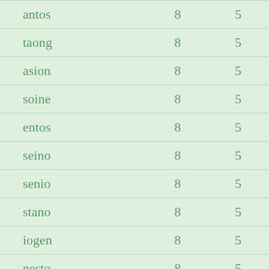| antos | 8 | 5 |
| taong | 8 | 5 |
| asion | 8 | 5 |
| soine | 8 | 5 |
| entos | 8 | 5 |
| seino | 8 | 5 |
| senio | 8 | 5 |
| stano | 8 | 5 |
| iogen | 8 | 5 |
| nesto | 8 | 5 |